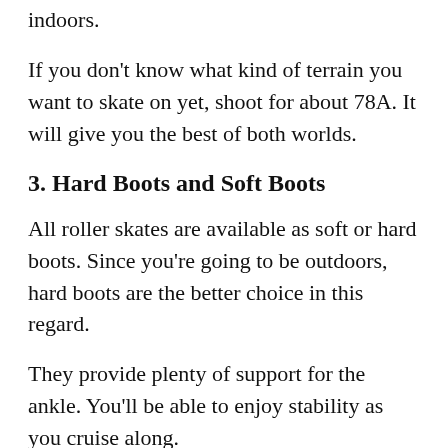indoors.
If you don't know what kind of terrain you want to skate on yet, shoot for about 78A. It will give you the best of both worlds.
3. Hard Boots and Soft Boots
All roller skates are available as soft or hard boots. Since you're going to be outdoors, hard boots are the better choice in this regard.
They provide plenty of support for the ankle. You'll be able to enjoy stability as you cruise along.
On the other hand, if you're going to be dancing in your skates, soft boots will give you the flexibility